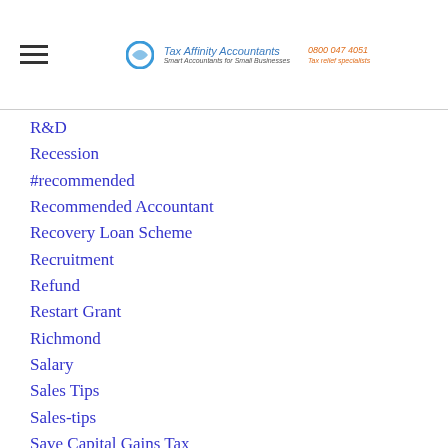Tax Affinity Accountants — 0800 047 4051
R&D
Recession
#recommended
Recommended Accountant
Recovery Loan Scheme
Recruitment
Refund
Restart Grant
Richmond
Salary
Sales Tips
Sales-tips
Save Capital Gains Tax
Saving Capital Gains Tax
Saving Money
Saving-money
Saving Tax On Property Income
Saving tax on property income